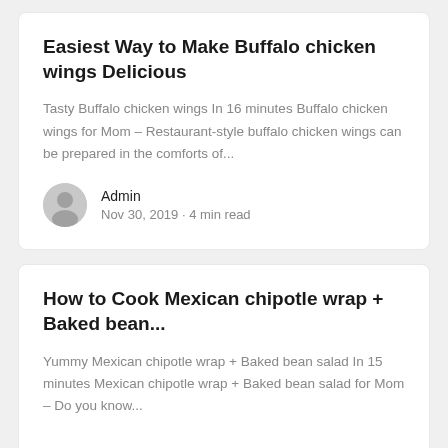Easiest Way to Make Buffalo chicken wings Delicious
Tasty Buffalo chicken wings In 16 minutes Buffalo chicken wings for Mom – Restaurant-style buffalo chicken wings can be prepared in the comforts of...
Admin
Nov 30, 2019 · 4 min read
How to Cook Mexican chipotle wrap + Baked bean...
Yummy Mexican chipotle wrap + Baked bean salad In 15 minutes Mexican chipotle wrap + Baked bean salad for Mom – Do you know...